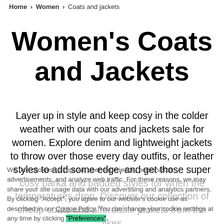Home > Women > Coats and jackets
Women's Coats and Jackets
Layer up in style and keep cosy in the colder weather with our coats and jackets sale for women. Explore denim and lightweight jackets to throw over those every day outfits, or leather styles to add some edge, and get those super cosy parka and padded styles for when the temperatures drop. Discover our collection of cheap coats and affordable jackets from the likes of adidas Originals, Henri Lloyd, Only and more at low prices. Whether you're looking for something practical or your next layering essential, our discounted coats and jackets have you covered. Find your perfect coat for less, only
We use cookies to improve user experience, personalize advertisements, and analyze web traffic. For these reasons, we may share your site usage data with our advertising and analytics partners. By clicking "Accept", you agree to our website's cookie use as described in our Cookie Policy. You can change your cookie settings at any time by clicking "Preferences".